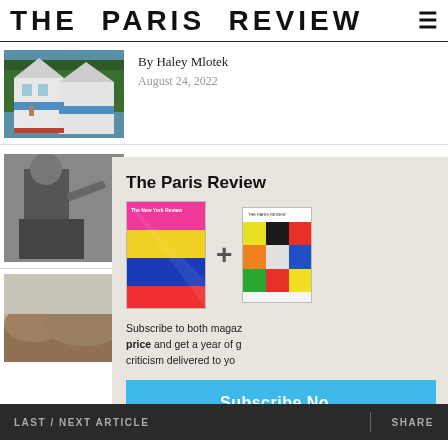THE PARIS REVIEW
[Figure (photo): Painting of two white houses with blue siding and green trees in background, person visible on porch]
By Haley Mlotek
August 24, 2022
[Figure (photo): Black and white photograph of a person, appears artistic/editorial]
[Figure (infographic): Popup overlay: The Paris Review subscription offer. Subscribe to both magazines at one price and get a year of great criticism delivered to your door. Subscribe Now button. Shows New York Review cover (colorful abstract) plus The Paris Review cover (colorful grid pattern).]
[Figure (photo): Partial black and white photo at bottom left, appears to be landscape or rocky terrain]
Fiction Between Two Societies
By Francois-René de Chateaubriand
LAST / NEXT ARTICLE   SHARE